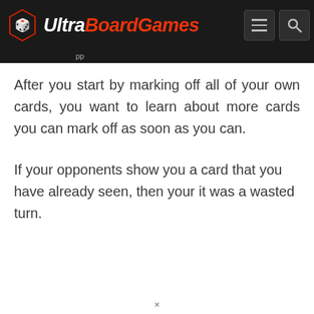UltraBoardGames
After you start by marking off all of your own cards, you want to learn about more cards you can mark off as soon as you can.
If your opponents show you a card that you have already seen, then your it was a wasted turn.